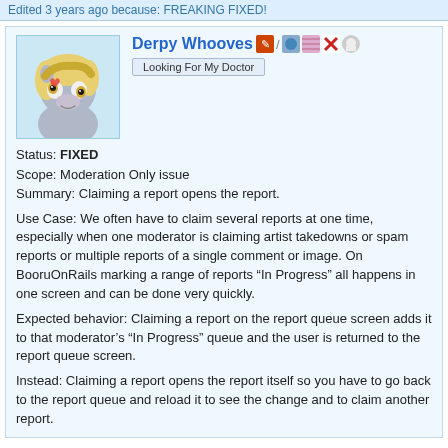Edited 3 years ago because: FREAKING FIXED!
Derpy Whooves
Looking For My Doctor
Status: FIXED
Scope: Moderation Only issue
Summary: Claiming a report opens the report.
Use Case: We often have to claim several reports at one time, especially when one moderator is claiming artist takedowns or spam reports or multiple reports of a single comment or image. On BooruOnRails marking a range of reports “In Progress” all happens in one screen and can be done very quickly.
Expected behavior: Claiming a report on the report queue screen adds it to that moderator’s “In Progress” queue and the user is returned to the report queue screen.
Instead: Claiming a report opens the report itself so you have to go back to the report queue and reload it to see the change and to claim another report.